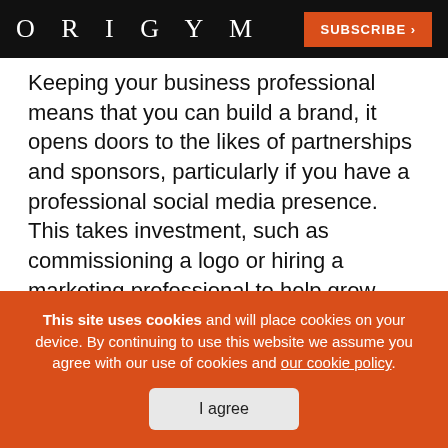ORIGYM | SUBSCRIBE >
Keeping your business professional means that you can build a brand, it opens doors to the likes of partnerships and sponsors, particularly if you have a professional social media presence. This takes investment, such as commissioning a logo or hiring a marketing professional to help grow your business.
Learning how to stand out as a personal trainer means practicing business etiquette in order to
This site uses cookies and will place cookies on your device. By continuing to use this website we assume you agree with our use of cookies and our cookie policy.
I agree